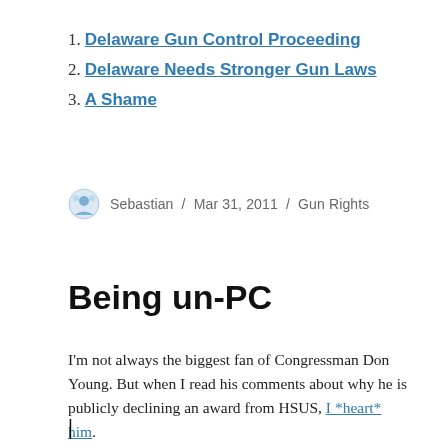1. Delaware Gun Control Proceeding
2. Delaware Needs Stronger Gun Laws
3. A Shame
Sebastian / Mar 31, 2011 / Gun Rights
Being un-PC
I'm not always the biggest fan of Congressman Don Young. But when I read his comments about why he is publicly declining an award from HSUS, I *heart* him.